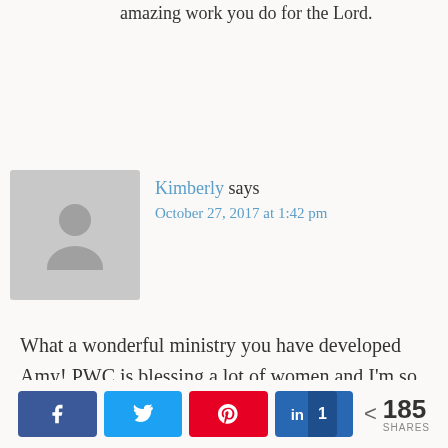amazing work you do for the Lord.
Kimberly says
October 27, 2017 at 1:42 pm
What a wonderful ministry you have developed Amy! PWC is blessing a lot of women and I'm so excited about this retreat for you.
Amy says
October 28, 2017 at 8:31
185 SHARES